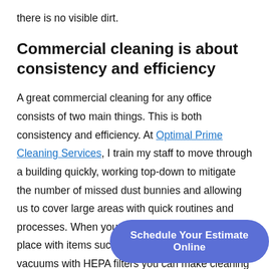there is no visible dirt.
Commercial cleaning is about consistency and efficiency
A great commercial cleaning for any office consists of two main things. This is both consistency and efficiency. At Optimal Prime Cleaning Services, I train my staff to move through a building quickly, working top-down to mitigate the number of missed dust bunnies and allowing us to cover large areas with quick routines and processes. When you mix the right process in place with items such as quality commercial vacuums with HEPA filters you can make cleaning a larg… cleaning project than…
Schedule Your Estimate Online